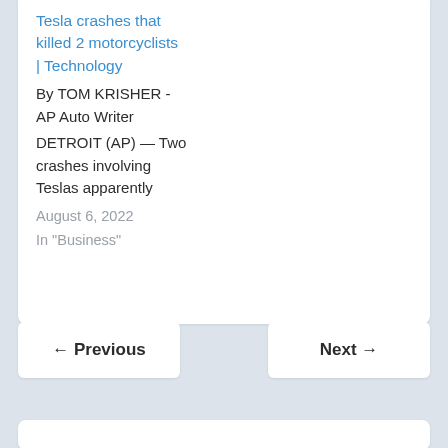Tesla crashes that killed 2 motorcyclists | Technology
By TOM KRISHER - AP Auto Writer
DETROIT (AP) — Two crashes involving Teslas apparently
August 6, 2022
In "Business"
← Previous
Next →